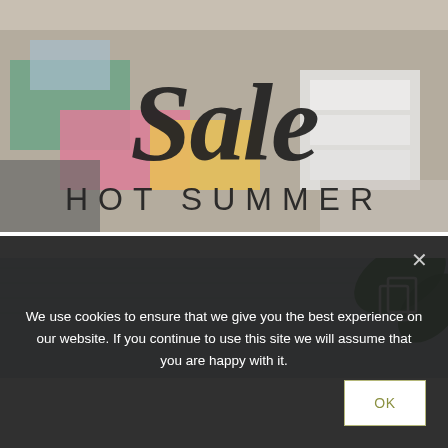[Figure (photo): Promotional banner photo of a craft/stationery table with colorful papers and supplies. Large script text 'Sale' and serif text 'HOT SUMMER' overlaid on the image.]
[Figure (photo): Partial photo below the banner showing a light blue textured surface with green plant leaves and a white icon in the upper right corner.]
We use cookies to ensure that we give you the best experience on our website. If you continue to use this site we will assume that you are happy with it.